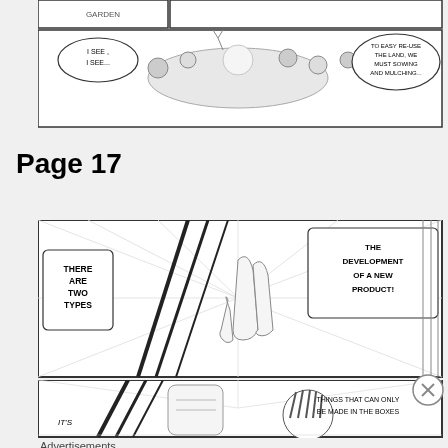[Figure (illustration): Manga panel showing characters around a table/garden scene viewed from above, with speech bubbles saying 'I SEE, I SEE...' and 'TO EASY RE-USE THE LAND, WE MUST SOWING AND MULCHING...']
Page 17
[Figure (illustration): Manga action panel showing a character holding up two fingers with speed lines, with speech bubbles 'THERE ARE TWO TYPES' and 'THE DEVELOPMENT OF A NEW PRODUCT!']
[Figure (illustration): Manga panel showing a character with dark hair and a raised fist, partial text 'IT'S' and 'THINGS THAT CAN ONLY BE MADE IN THE BOXES...' visible]
Advertisements